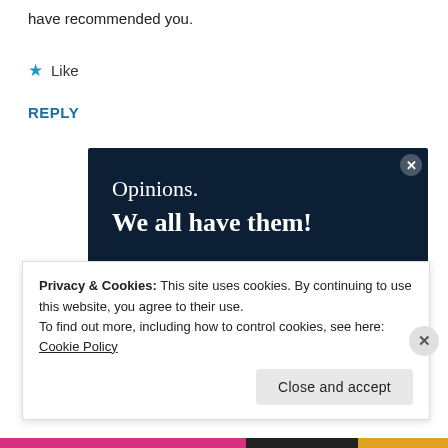have recommended you.
★ Like
REPLY
[Figure (screenshot): Dark navy advertisement banner reading 'Opinions. We all have them!' with a pink 'Start a survey' button and a Crowdsignal logo circle at bottom right.]
Privacy & Cookies: This site uses cookies. By continuing to use this website, you agree to their use.
To find out more, including how to control cookies, see here: Cookie Policy
Close and accept